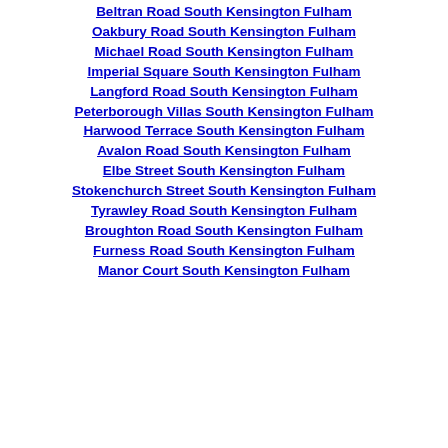Beltran Road South Kensington Fulham
Oakbury Road South Kensington Fulham
Michael Road South Kensington Fulham
Imperial Square South Kensington Fulham
Langford Road South Kensington Fulham
Peterborough Villas South Kensington Fulham
Harwood Terrace South Kensington Fulham
Avalon Road South Kensington Fulham
Elbe Street South Kensington Fulham
Stokenchurch Street South Kensington Fulham
Tyrawley Road South Kensington Fulham
Broughton Road South Kensington Fulham
Furness Road South Kensington Fulham
Manor Court South Kensington Fulham